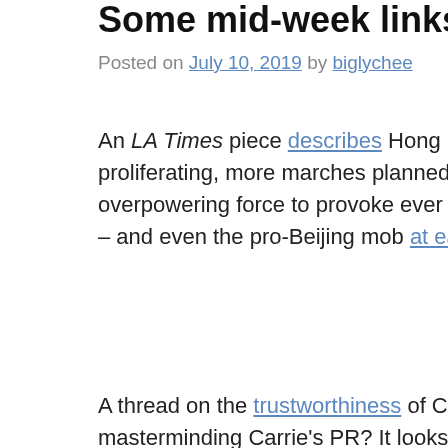Some mid-week links for the gentry
Posted on July 10, 2019 by biglychee
An LA Times piece describes Hong Kong’s mood as a type of gr proliferating, more marches planned, and the government appar overpowering force to provoke ever more hostility from the bro – and even the pro-Beijing mob at each other’s throats – someth
A thread on the trustworthiness of Carrie ‘Dead Bill’ Lam. Who masterminding Carrie’s PR? It looks suspiciously like a subvers infiltrator from the opposition – after all, being totally sealed o from public opinion, she and her clueless colleagues would neve notice. The word is that Beijing won’t let her ‘withdraw’ the bil logic is that this would lose face/encourage revolt (whereas a laughably desperate and pitiful clutching around for inadequate
Anti-Carrie graphics get crueler by the day: a clever mix of ima movie fans by an unknown artist/wit.
Why Beijing can’t afford to alienate Hong Kong’s young activi